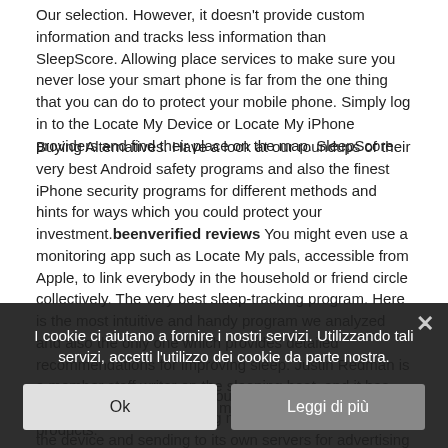Our selection. However, it doesn't provide custom information and tracks less information than SleepScore. Allowing place services to make sure you never lose your smart phone is far from the one thing that you can do to protect your mobile phone. Simply log in to the Locate My Device or Locate My iPhone providers and find their place on the map. SleepScore.
Buying Alternatives. Have a look at our roundups of their very best Android safety programs and also the finest iPhone security programs for different methods and hints for ways which you could protect your investment.beenverified reviews You might even use a monitoring app such as Locate My pals, accessible from Apple, to link everybody in the household or friend circle collectively. The very best sleep-tracking program. Here is the most intuitive and handy program we analyzed and also the only one which provides detailed recommendations for improving sleep. Justin Redman is a member staff writer on the sleeping beat, and it has led to Wirecutter's policy of mattresses and other sleep products.
Instead, Apple was very about its device and photo information privacy, keeping more information locally on the device and sending to its own servers for advertising targeting. Buying
I cookie ci aiutano a fornire i nostri servizi. Utilizzando tali servizi, accetti l'utilizzo dei cookie da parte nostra.